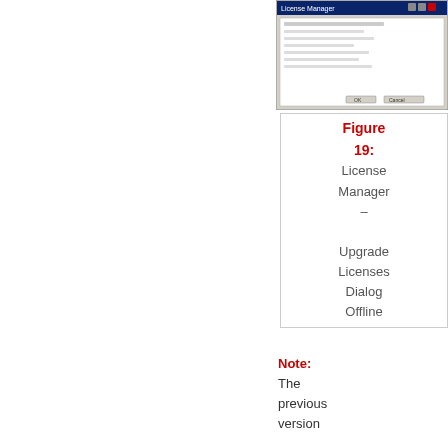[Figure (screenshot): Screenshot of License Manager – Upgrade Licenses Dialog Offline window]
Figure 19: License Manager – Upgrade Licenses Dialog Offline
Note: The previous version